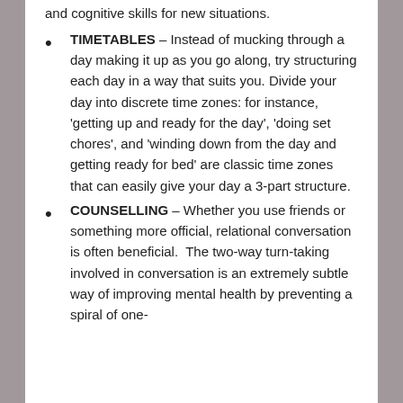and cognitive skills for new situations.
TIMETABLES – Instead of mucking through a day making it up as you go along, try structuring each day in a way that suits you. Divide your day into discrete time zones: for instance, 'getting up and ready for the day', 'doing set chores', and 'winding down from the day and getting ready for bed' are classic time zones that can easily give your day a 3-part structure.
COUNSELLING – Whether you use friends or something more official, relational conversation is often beneficial.  The two-way turn-taking involved in conversation is an extremely subtle way of improving mental health by preventing a spiral of one-